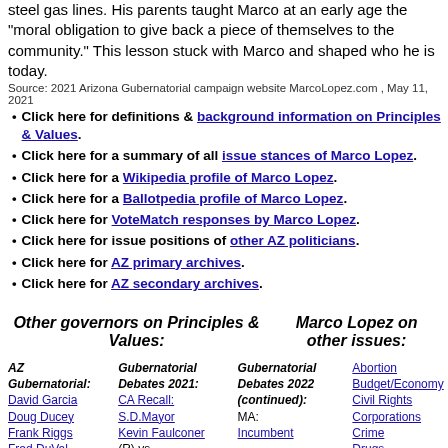steel gas lines. His parents taught Marco at an early age the "moral obligation to give back a piece of themselves to the community." This lesson stuck with Marco and shaped who he is today.
Source: 2021 Arizona Gubernatorial campaign website MarcoLopez.com , May 11, 2021
Click here for definitions & background information on Principles & Values.
Click here for a summary of all issue stances of Marco Lopez.
Click here for a Wikipedia profile of Marco Lopez.
Click here for a Ballotpedia profile of Marco Lopez.
Click here for VoteMatch responses by Marco Lopez.
Click here for issue positions of other AZ politicians.
Click here for AZ primary archives.
Click here for AZ secondary archives.
Other governors on Principles & Values:
Marco Lopez on other issues:
AZ Gubernatorial: David Garcia, Doug Ducey, Frank Riggs, Fred DuVal, Jan Brewer, JL Mealer, Kari Lake, Katie Hobbs, Kimberly Yee, Phil Gordon
Gubernatorial Debates 2021: CA Recall: S.D.Mayor Kevin Faulconer(R) vs.Former Gov. nominee John Cox(R) vs.Former U.S.Rep Doug Ose(R) vs.Laura Smith(R) vs.Former
Gubernatorial Debates 2022 (continued): MA: Incumbent Charlie Baker(R) vs.Lt.Gov.Karyn Polito(R) vs.State Rep. Geoff Diehl(R) vs.Harvard Professor Danielle Allen(D)
Abortion, Budget/Economy, Civil Rights, Corporations, Crime, Drugs, Education, Energy/Oil, Environment, Families/Children, Foreign Policy, Free Trade